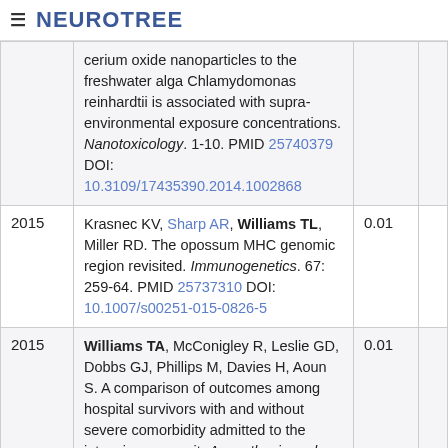≡ NEUROTREE
| Year | Reference | Score |  |
| --- | --- | --- | --- |
|  | cerium oxide nanoparticles to the freshwater alga Chlamydomonas reinhardtii is associated with supra-environmental exposure concentrations. Nanotoxicology. 1-10. PMID 25740379 DOI: 10.3109/17435390.2014.1002868 |  |  |
| 2015 | Krasnec KV, Sharp AR, Williams TL, Miller RD. The opossum MHC genomic region revisited. Immunogenetics. 67: 259-64. PMID 25737310 DOI: 10.1007/s00251-015-0826-5 | 0.01 |  |
| 2015 | Williams TA, McConigley R, Leslie GD, Dobbs GJ, Phillips M, Davies H, Aoun S. A comparison of outcomes among hospital survivors with and without severe comorbidity admitted to the intensive care unit. Anaesthesia and Intensive Care. 43: 230-7. PMID 25735690 | 0.01 |  |
| 2015 | Williams TM, Leeth RA, Rothschild DE, Coutermarsh-Ott SL, McDaniel DK, Simmons AE, Heid B, Cecere TE, Allen IC. The NLRP1... | 0.01 |  |